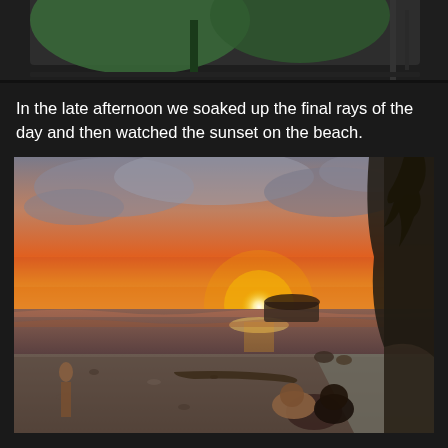[Figure (photo): Partial view of a green umbrella or similar object at a beach or outdoor setting, on dark background, cropped at top]
In the late afternoon we soaked up the final rays of the day and then watched the sunset on the beach.
[Figure (photo): Beach sunset scene with people sitting on a rocky shore watching the sun set over the ocean, dramatic orange and pink sky with clouds, dark silhouette of a cliff with trees on the right side, tropical coastal setting]